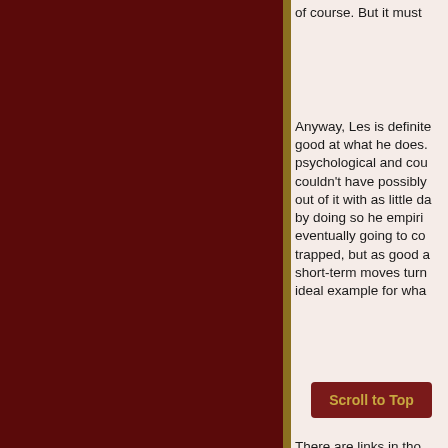of course. But it must Anyway, Les is definitely good at what he does. psychological and cou couldn't have possibly out of it with as little da by doing so he empiri eventually going to co trapped, but as good a short-term moves turn ideal example for wha
First of all, read my co weeks ago over at: http://www.conspiracy
Scroll to Top
There are links in tho